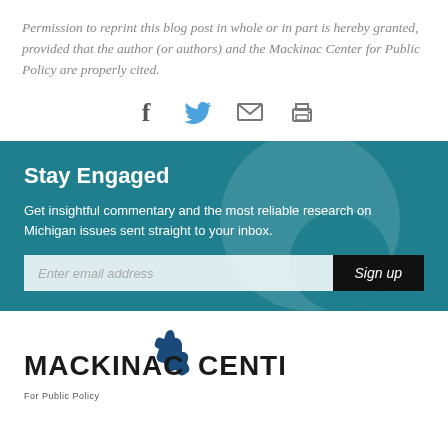Permission to reprint this blog post in whole or in part is hereby granted, provided that the author (or authors) and the Mackinac Center for Public Policy are properly cited.
[Figure (infographic): Social sharing icons: Facebook (f), Twitter (bird), Email (envelope), Print (printer)]
Stay Engaged
Get insightful commentary and the most reliable research on Michigan issues sent straight to your inbox.
[Figure (infographic): Email signup form with input field 'Enter email address' and 'Sign up' button]
[Figure (logo): Mackinac Center for Public Policy logo]